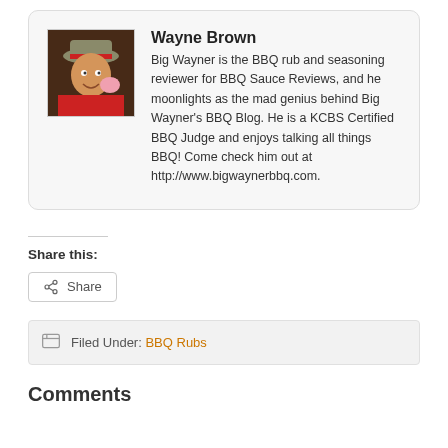[Figure (photo): Photo of Wayne Brown, a man wearing a hat and red shirt, holding a bbq-themed figurine]
Wayne Brown
Big Wayner is the BBQ rub and seasoning reviewer for BBQ Sauce Reviews, and he moonlights as the mad genius behind Big Wayner's BBQ Blog. He is a KCBS Certified BBQ Judge and enjoys talking all things BBQ! Come check him out at http://www.bigwaynerbbq.com.
Share this:
Filed Under: BBQ Rubs
Comments